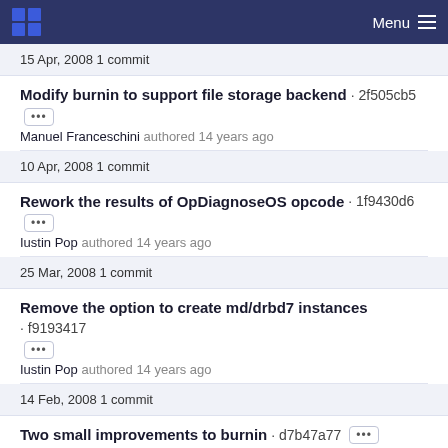Menu
15 Apr, 2008 1 commit
Modify burnin to support file storage backend · 2f505cb5
Manuel Franceschini authored 14 years ago
10 Apr, 2008 1 commit
Rework the results of OpDiagnoseOS opcode · 1f9430d6
Iustin Pop authored 14 years ago
25 Mar, 2008 1 commit
Remove the option to create md/drbd7 instances · f9193417
Iustin Pop authored 14 years ago
14 Feb, 2008 1 commit
Two small improvements to burnin · d7b47a77
Iustin Pop authored 14 years ago